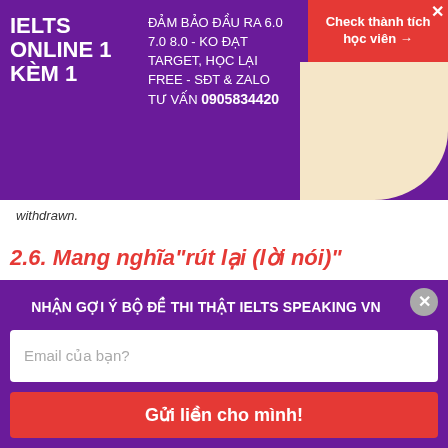[Figure (infographic): IELTS Online 1 Kèm 1 advertisement banner with purple background, text about guarantees, and a red 'Check thành tích học viên' button]
withdrawn.
2.6. Mang nghĩa"rút lại (lời nói)"
=to say that something you said earlier is not in fact true
[Figure (infographic): Bottom popup overlay with purple background: 'NHẬN GỢI Ý BỘ ĐỀ THI THẬT IELTS SPEAKING VN', email input field 'Email của bạn?', and red button 'Gửi liền cho mình!']